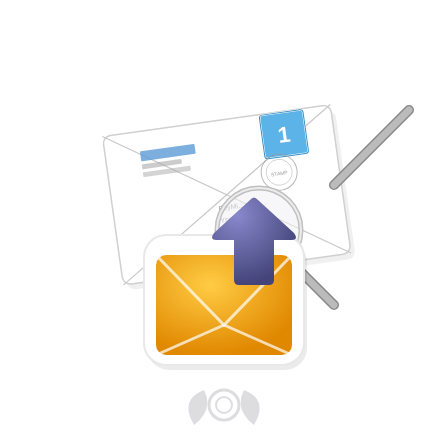[Figure (illustration): Three mail/email icons stacked vertically: (1) Top: A white paper envelope tilted slightly, with a blue postage stamp in the top-right corner and small text/logo on the left, overlaid with a magnifying glass icon. (2) Middle: A rounded-square sticker-style icon showing an orange/yellow closed envelope with white V-shape seam lines, and a purple/indigo arrow pointing upper-right overlapping the top. (3) Bottom (partial): A small gray/silver decorative emblem showing a plant/leaf with a circular element, partially visible at the bottom edge.]